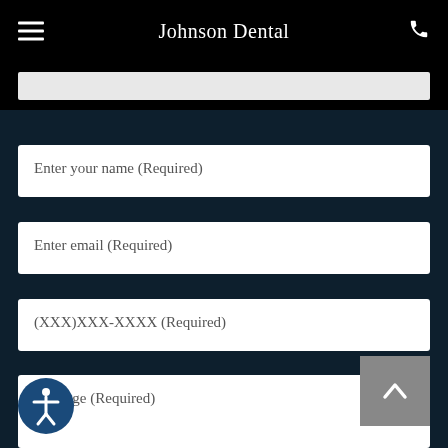Johnson Dental
Enter your name (Required)
Enter email (Required)
(XXX)XXX-XXXX (Required)
Message (Required)